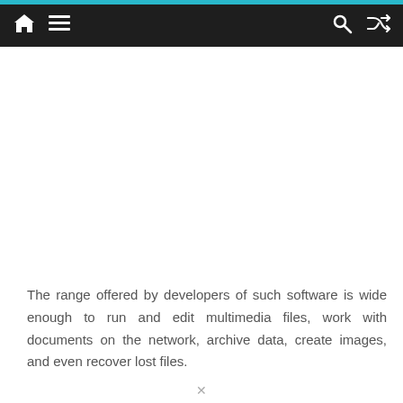The range offered by developers of such software is wide enough to run and edit multimedia files, work with documents on the network, archive data, create images, and even recover lost files.